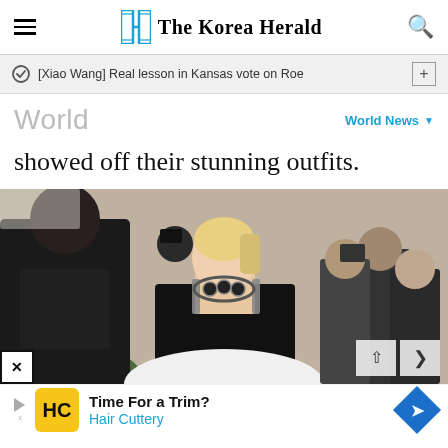The Korea Herald
[Xiao Wang] Real lesson in Kansas vote on Roe
World
World News
showed off their stunning outfits.
[Figure (photo): A blonde woman in a black dress with a large floral necklace/choker at what appears to be a red carpet event. Background shows other attendees and greenery.]
Time For a Trim? Hair Cuttery